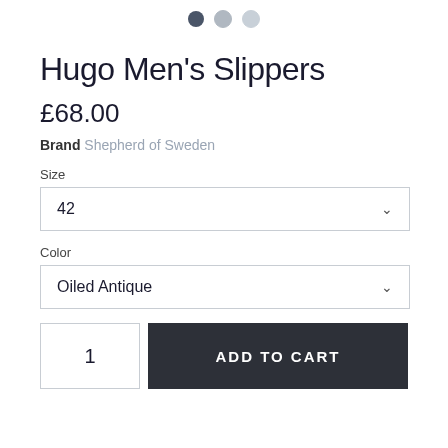[Figure (illustration): Three pagination dots: one dark filled, one medium gray, one light gray]
Hugo Men's Slippers
£68.00
Brand Shepherd of Sweden
Size
42
Color
Oiled Antique
1  ADD TO CART